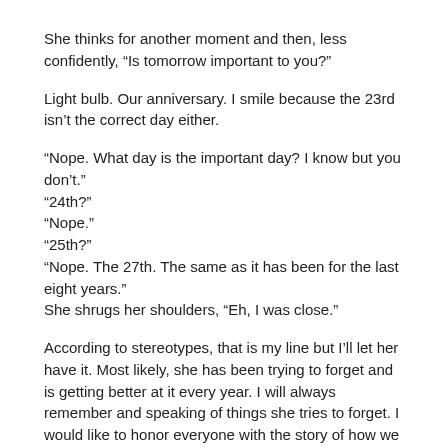She thinks for another moment and then, less confidently, “Is tomorrow important to you?”
Light bulb. Our anniversary. I smile because the 23rd isn’t the correct day either.
“Nope. What day is the important day? I know but you don’t.”
“24th?”
“Nope.”
“25th?”
“Nope. The 27th. The same as it has been for the last eight years.”
She shrugs her shoulders, “Eh, I was close.”
According to stereotypes, that is my line but I’ll let her have it. Most likely, she has been trying to forget and is getting better at it every year. I will always remember and speaking of things she tries to forget. I would like to honor everyone with the story of how we met. If for no other reason than to prove that she had fair warning of what she was marrying into.